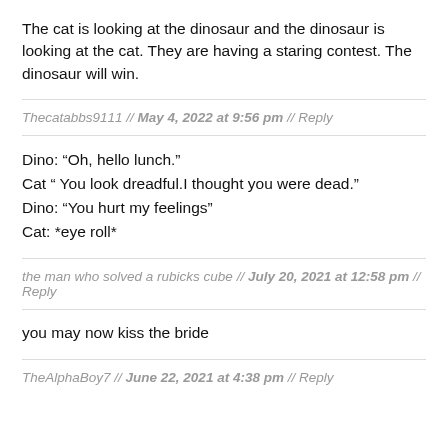The cat is looking at the dinosaur and the dinosaur is looking at the cat. They are having a staring contest. The dinosaur will win.
Thecatabbs9111 // May 4, 2022 at 9:56 pm // Reply
Dino: “Oh, hello lunch.”
Cat “ You look dreadful.I thought you were dead.”
Dino: “You hurt my feelings”
Cat: *eye roll*
the man who solved a rubicks cube // July 20, 2021 at 12:58 pm // Reply
you may now kiss the bride
TheAlphaBoy7 // June 22, 2021 at 4:38 pm // Reply